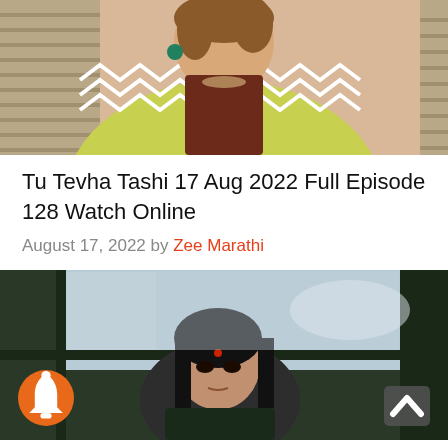[Figure (photo): A woman in a yellow and white patterned outfit sitting indoors, brown hair up, looking downward]
Tu Tevha Tashi 17 Aug 2022 Full Episode 128 Watch Online
August 17, 2022 by Zee Marathi
[Figure (photo): A woman with dark hair sitting inside a green car, looking through the window with a serious expression. An orange notification bell button is visible in the lower left, and a scroll-to-top button in the lower right.]